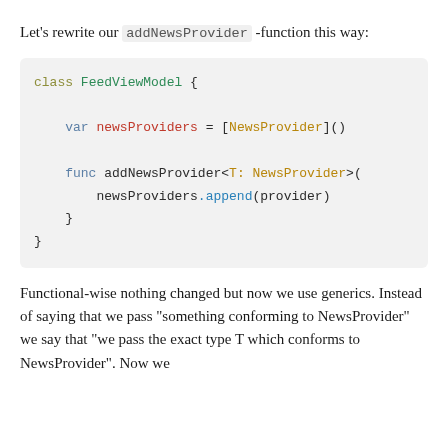Let's rewrite our addNewsProvider -function this way:
class FeedViewModel {

    var newsProviders = [NewsProvider]()

    func addNewsProvider<T: NewsProvider>{
        newsProviders.append(provider)
    }
}
Functional-wise nothing changed but now we use generics. Instead of saying that we pass “something conforming to NewsProvider” we say that “we pass the exact type T which conforms to NewsProvider”. Now we